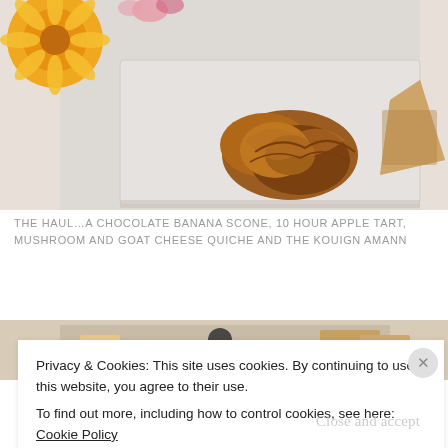[Figure (photo): Photo of bakery items on a marble surface: a croissant in the center, a slice of tart on the right, and flowers (orange/yellow daisy and pink flowers) in the upper left corner]
THE HAUL...A CHOCOLATE BANANA SCONE, 10 HOUR APPLE TART, MUSHROOM AND GOAT CHEESE QUICHE AND THE KOUIGN AMANN
[Figure (photo): Partial photo of bakery/food table setup, partially obscured by cookie consent banner]
Privacy & Cookies: This site uses cookies. By continuing to use this website, you agree to their use.
To find out more, including how to control cookies, see here: Cookie Policy
Close and accept